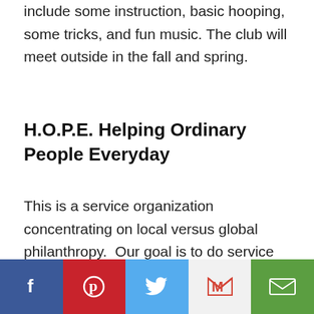include some instruction, basic hooping, some tricks, and fun music. The club will meet outside in the fall and spring.
H.O.P.E. Helping Ordinary People Everyday
This is a service organization concentrating on local versus global philanthropy.  Our goal is to do service out in the community to help people locally while letting students build character and leadership skills.
[Figure (infographic): Social sharing buttons: Facebook (blue), Pinterest (red), Twitter (light blue), Gmail (grey with red M), Email (green)]